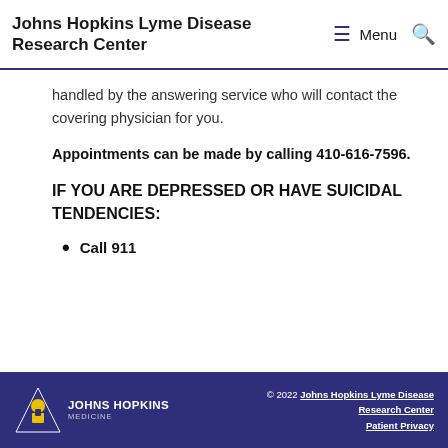Johns Hopkins Lyme Disease Research Center
handled by the answering service who will contact the covering physician for you.
Appointments can be made by calling 410-616-7596.
IF YOU ARE DEPRESSED OR HAVE SUICIDAL TENDENCIES:
Call 911
© 2022 Johns Hopkins Lyme Disease Research Center  Patient Privacy